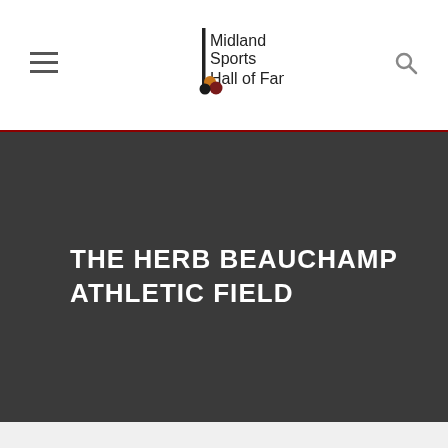[Figure (logo): Midland Sports Hall of Fame logo with vertical bar and decorative circles (orange, dark red/maroon, black)]
THE HERB BEAUCHAMP ATHLETIC FIELD